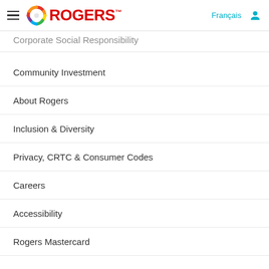Rogers - Navigation menu with logo, Français link, and user icon
Corporate Social Responsibility (partial)
Community Investment
About Rogers
Inclusion & Diversity
Privacy, CRTC & Consumer Codes
Careers
Accessibility
Rogers Mastercard
Security
Terms & Conditions
Site Map
Media Contact